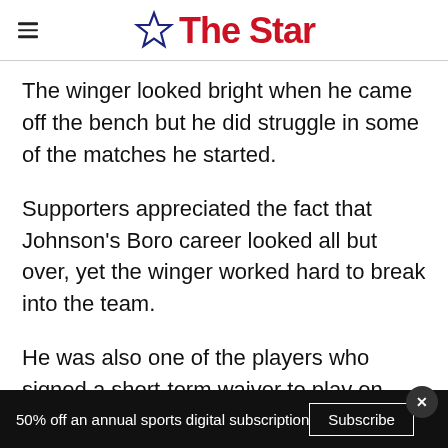The Star
The winger looked bright when he came off the bench but he did struggle in some of the matches he started.
Supporters appreciated the fact that Johnson's Boro career looked all but over, yet the winger worked hard to break into the team.
He was also one of the players who signed a short-term waiver to play on after his contract
50% off an annual sports digital subscription   Subscribe